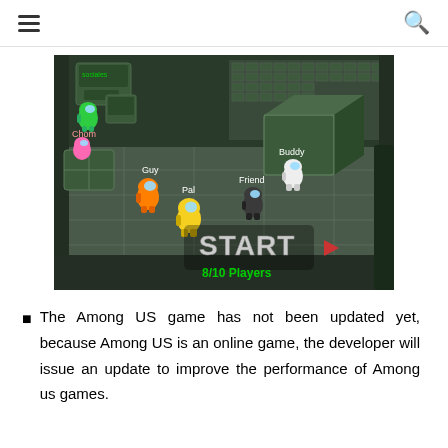≡  🔍
[Figure (screenshot): Among US game lobby screenshot showing multiple player characters (Guy - orange, Pal - yellow, Friend - black, Buddy - white, Chom - pink, and a green character near 'sociales' box) in a spaceship room. A START button and '8/10 Players' text are visible at the bottom.]
The Among US game has not been updated yet, because Among US is an online game, the developer will issue an update to improve the performance of Among us games.